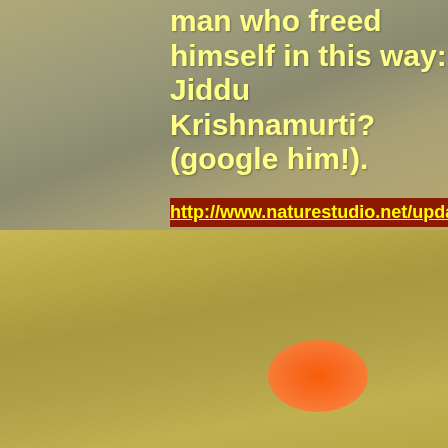[Figure (illustration): Background image with two zones: a grayish-green/tan upper section and a golden-yellow lower section depicting a hazy sky and landscape. An orange elliptical sun shape sits in the lower right portion of the image.]
man who freed himself in this way: Jiddu Krishnamurti? (google him!).
http://www.naturestudio.net/updateyourgo